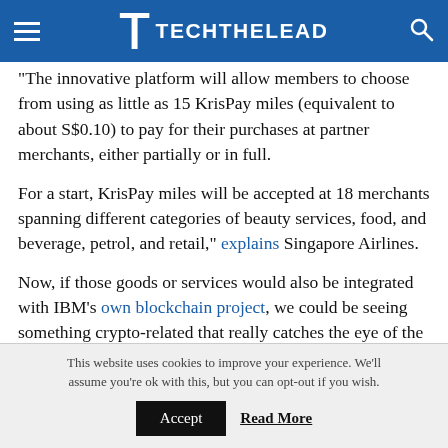TL TECHTHELEAD
The innovative platform will allow members to choose from using as little as 15 KrisPay miles (equivalent to about S$0.10) to pay for their purchases at partner merchants, either partially or in full.
For a start, KrisPay miles will be accepted at 18 merchants spanning different categories of beauty services, food, and beverage, petrol, and retail,” explains Singapore Airlines.
Now, if those goods or services would also be integrated with IBM’s own blockchain project, we could be seeing something crypto-related that really catches the eye of the average Joe who’s only focused on Bitcoin’s price.
This website uses cookies to improve your experience. We’ll assume you’re ok with this, but you can opt-out if you wish. Accept Read More